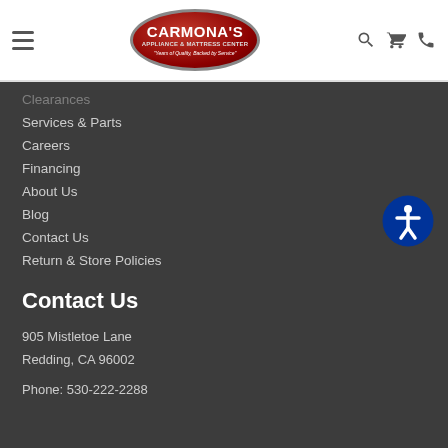[Figure (logo): Carmona's Appliance & Mattress Center logo - red oval with white text and tagline 'Years of Quality, Backed by Service']
Clearances
Services & Parts
Careers
Financing
About Us
Blog
Contact Us
Return & Store Policies
Contact Us
905 Mistletoe Lane
Redding, CA 96002
Phone: 530-222-2288